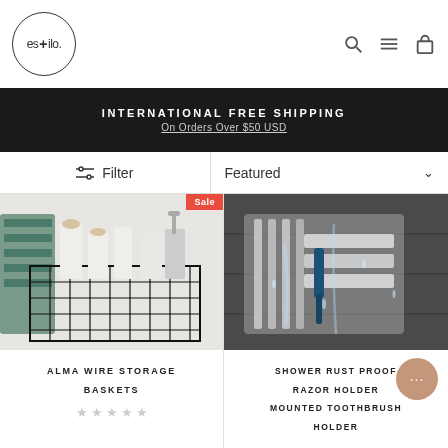[Figure (logo): estilo logo in a circle with a plus sign]
[Figure (infographic): Header icons: search magnifier, hamburger menu, shopping bag]
INTERNATIONAL FREE SHIPPING
On Orders Over $50 USD
Filter
Featured
[Figure (photo): Black wire storage basket filled with white bottles and towels on marble surface]
Sale
ALMA WIRE STORAGE BASKETS
[Figure (photo): Shower rust proof razor holder with razor and water splashing, wall mounted on dark tile]
SHOWER RUST PROOF RAZOR HOLDER MOUNTED TOOTHBRUSH HOLDER